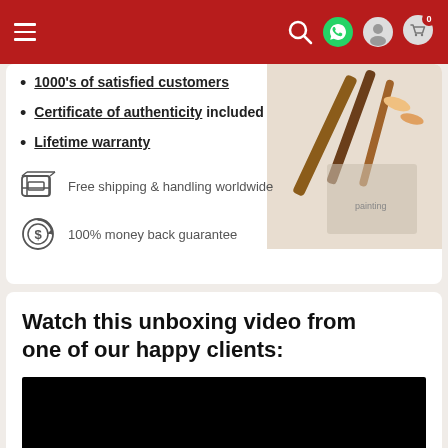Navigation bar with hamburger menu, search, WhatsApp, account, and cart (0) icons
1000's of satisfied customers
Certificate of authenticity included
Lifetime warranty
Free shipping & handling worldwide
100% money back guarantee
[Figure (photo): Photo of artist painting brushes and a painting in the top-right corner of the top card]
Watch this unboxing video from one of our happy clients:
[Figure (screenshot): Black video thumbnail placeholder for unboxing video]